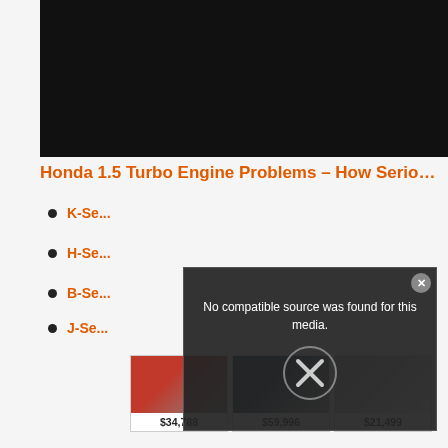[Figure (screenshot): Black video player area at top of page]
Honda 1.5 Turbo Engine Problems – How Serious Ar...
K-Se...
H-Se...
B-Se...
J-Se...
[Figure (screenshot): Video overlay popup with 'No compatible source was found for this media.' message and X close button]
[Figure (screenshot): Advertisement row showing three car listings with prices $34,788, $59,996, $21,499 and cars.com logo]